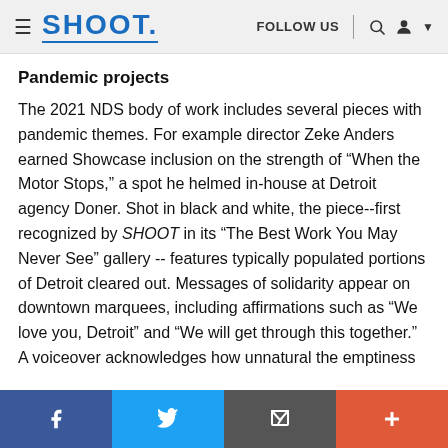SHOOT. | FOLLOW US
Pandemic projects
The 2021 NDS body of work includes several pieces with pandemic themes. For example director Zeke Anders earned Showcase inclusion on the strength of “When the Motor Stops,” a spot he helmed in-house at Detroit agency Doner. Shot in black and white, the piece--first recognized by SHOOT in its “The Best Work You May Never See” gallery -- features typically populated portions of Detroit cleared out. Messages of solidarity appear on downtown marquees, including affirmations such as “We love you, Detroit” and “We will get through this together.” A voiceover acknowledges how unnatural the emptiness of the streets feels, especially for “the city on four wheels.” The entirety of the spot serves as a nod
Facebook | Twitter | Email | More